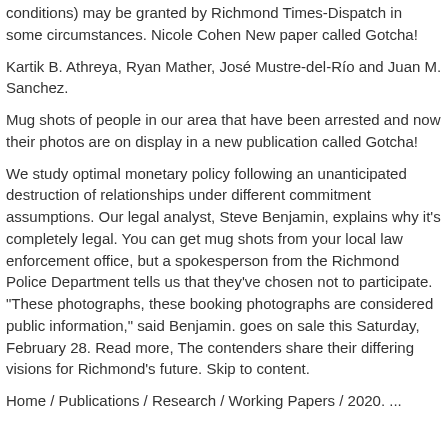conditions) may be granted by Richmond Times-Dispatch in some circumstances. Nicole Cohen New paper called Gotcha!
Kartik B. Athreya, Ryan Mather, José Mustre-del-Río and Juan M. Sanchez.
Mug shots of people in our area that have been arrested and now their photos are on display in a new publication called Gotcha!
We study optimal monetary policy following an unanticipated destruction of relationships under different commitment assumptions. Our legal analyst, Steve Benjamin, explains why it's completely legal. You can get mug shots from your local law enforcement office, but a spokesperson from the Richmond Police Department tells us that they've chosen not to participate. "These photographs, these booking photographs are considered public information," said Benjamin. goes on sale this Saturday, February 28. Read more, The contenders share their differing visions for Richmond's future. Skip to content.
Home / Publications / Research / Working Papers / 2020. ...